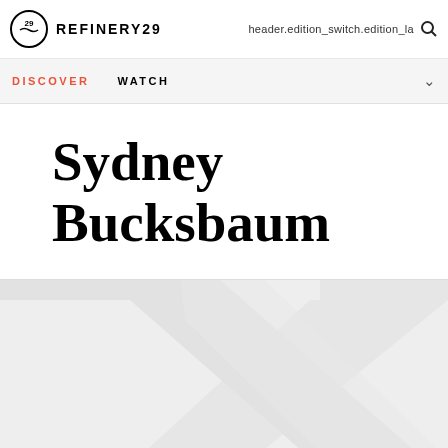REFINERY29  header.edition_switch.edition_la
DISCOVER  WATCH
Sydney Bucksbaum
[Figure (illustration): Light grey background with diagonal white stripes forming an X or cross pattern, decorative graphic element below the author title]